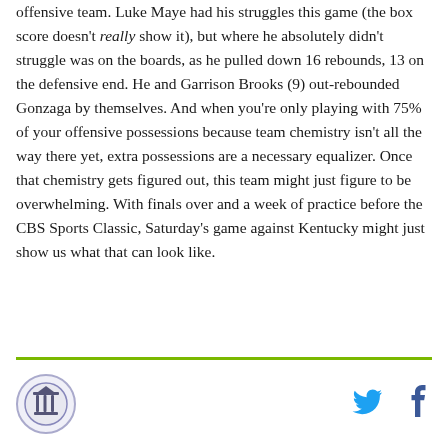offensive team. Luke Maye had his struggles this game (the box score doesn't really show it), but where he absolutely didn't struggle was on the boards, as he pulled down 16 rebounds, 13 on the defensive end. He and Garrison Brooks (9) out-rebounded Gonzaga by themselves. And when you're only playing with 75% of your offensive possessions because team chemistry isn't all the way there yet, extra possessions are a necessary equalizer. Once that chemistry gets figured out, this team might just figure to be overwhelming. With finals over and a week of practice before the CBS Sports Classic, Saturday's game against Kentucky might just show us what that can look like.
[Figure (logo): Circular logo with column/building icon]